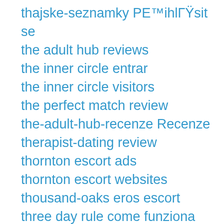thajske-seznamky PE™ihlГŸsit se
the adult hub reviews
the inner circle entrar
the inner circle visitors
the perfect match review
the-adult-hub-recenze Recenze
therapist-dating review
thornton escort ads
thornton escort websites
thousand-oaks eros escort
three day rule come funziona
three day rule mobile site
Three Day Rule visitors
three-day-rule-overzicht Dating
Threesome Sites app for